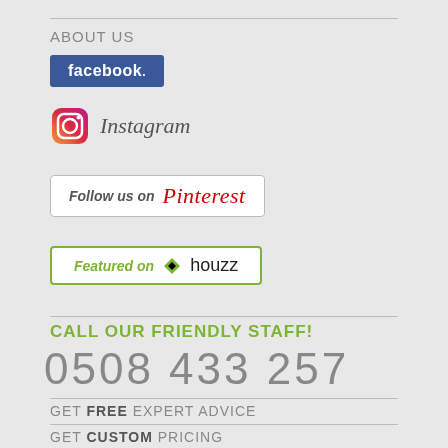ABOUT US
[Figure (logo): Facebook logo button - blue background with white 'facebook.' text]
[Figure (logo): Instagram logo icon with gradient and 'Instagram' text in italic script]
[Figure (logo): Pinterest 'Follow us on Pinterest' button with border]
[Figure (logo): Houzz 'Featured on houzz' button with green border and houzz logo]
CALL OUR FRIENDLY STAFF!
0508 433 257
GET FREE EXPERT ADVICE
GET CUSTOM PRICING
GET LATEST PRICE LIST